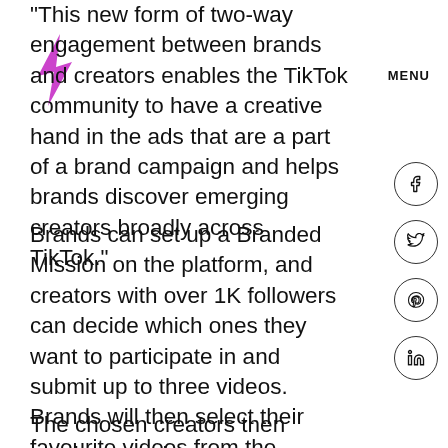[Figure (logo): Purple/magenta lightning bolt icon (TikTok-style logo)]
MENU
“This new form of two-way engagement between brands and creators enables the TikTok community to have a creative hand in the ads that are a part of a brand campaign and helps brands discover emerging creators broadly across TikTok.”
Brands can set up a Branded Mission on the platform, and creators with over 1K followers can decide which ones they want to participate in and submit up to three videos. Brands will then select their favourite videos from the submissions and amplify them through promoted ad traffic.
The chosen creators then receive a cash